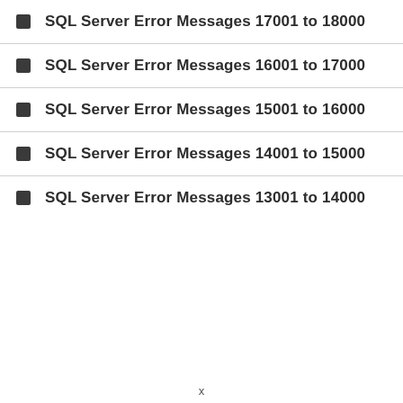SQL Server Error Messages 17001 to 18000
SQL Server Error Messages 16001 to 17000
SQL Server Error Messages 15001 to 16000
SQL Server Error Messages 14001 to 15000
SQL Server Error Messages 13001 to 14000
x